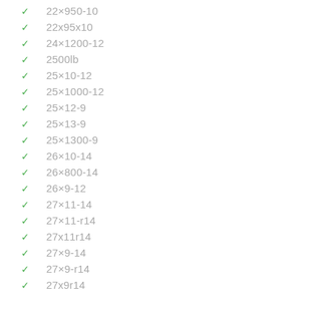22×950-10
22x95x10
24×1200-12
2500lb
25×10-12
25×1000-12
25×12-9
25×13-9
25×1300-9
26×10-14
26×800-14
26×9-12
27×11-14
27×11-r14
27x11r14
27×9-14
27×9-r14
27x9r14